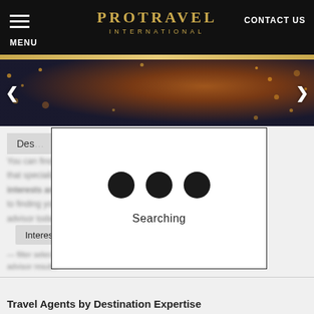PROTRAVEL INTERNATIONAL | CONTACT US | MENU
[Figure (screenshot): Website screenshot showing Protravel International website with a loading modal displaying three black dots and the word 'Searching'. Below is a destination filter showing 'Interest: Christmas Markets' tag. Bottom section shows 'Travel Agents by Destination Expertise' heading.]
Destination filter area
Interest: Christmas Markets ✕
Travel Agents by Destination Expertise